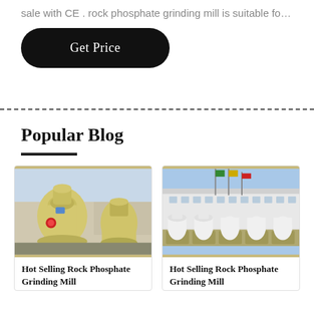sale with CE . rock phosphate grinding mill is suitable fo…
Get Price
Popular Blog
[Figure (photo): Yellow rock phosphate grinding mill machines outdoors at a factory]
Hot Selling Rock Phosphate Grinding Mill
[Figure (photo): White rock phosphate grinding mill machines lined up on trucks at a factory with flags]
Hot Selling Rock Phosphate Grinding Mill